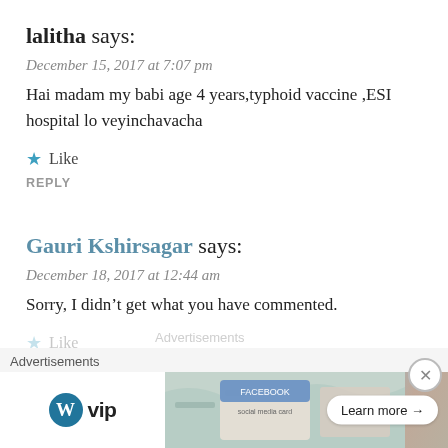lalitha says:
December 15, 2017 at 7:07 pm
Hai madam my babi age 4 years,typhoid vaccine ,ESI hospital lo veyinchavacha
★ Like
REPLY
Gauri Kshirsagar says:
December 18, 2017 at 12:44 am
Sorry, I didn't get what you have commented.
★ Like
REPLY
[Figure (screenshot): WordPress VIP advertisement banner with map/social media card imagery and 'Learn more →' button]